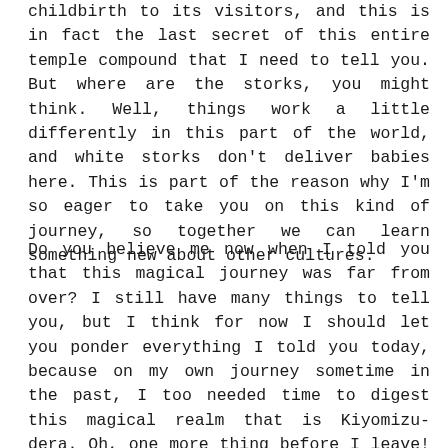childbirth to its visitors, and this is in fact the last secret of this entire temple compound that I need to tell you. But where are the storks, you might think. Well, things work a little differently in this part of the world, and white storks don't deliver babies here. This is part of the reason why I'm so eager to take you on this kind of journey, so together we can learn something new about other cultures.
Do you believe me now when I told you that this magical journey was far from over? I still have many things to tell you, but I think for now I should let you ponder everything I told you today, because on my own journey sometime in the past, I too needed time to digest this magical realm that is Kiyomizu-dera. Oh, one more thing before I leave! Remember that big vermilion gate when you entered this place? It's not that the Japanese like to paint everything the same color. Here, vermilion is believed to ward off evil spirits. Who would want people with ill intentions to come to this sacred place where wishes are one step closer to being granted and compassion emanates through the landscape...